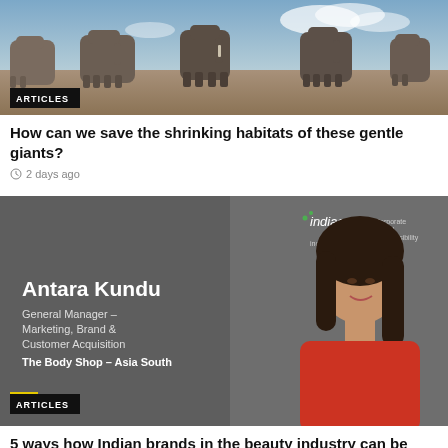[Figure (photo): Photo of a group of elephants standing on dry ground with blue sky in background. An 'ARTICLES' badge is overlaid at the bottom left.]
How can we save the shrinking habitats of these gentle giants?
2 days ago
[Figure (photo): Promotional banner image with gray background showing Antara Kundu, General Manager – Marketing, Brand & Customer Acquisition, The Body Shop – Asia South. IndiaCSR logo top right. Photo of woman in red top on right side. ARTICLES badge at bottom left.]
5 ways how Indian brands in the beauty industry can be sustainable
3 days ago